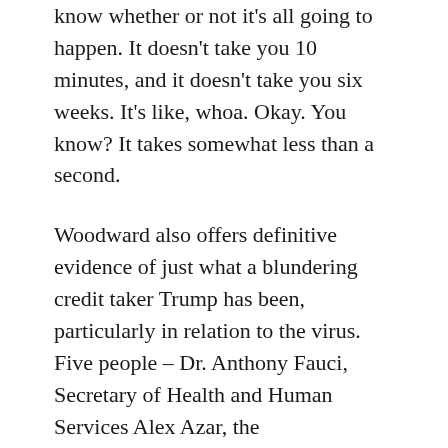know whether or not it's all going to happen. It doesn't take you 10 minutes, and it doesn't take you six weeks. It's like, whoa. Okay. You know? It takes somewhat less than a second.
Woodward also offers definitive evidence of just what a blundering credit taker Trump has been, particularly in relation to the virus. Five people – Dr. Anthony Fauci, Secretary of Health and Human Services Alex Azar, the aforementioned Redfield, and security advisers Robert C. O'Brien and Matthew Pottinger — urged Trump to initiate travel restrictions on China. On deep background, Woodward paints a picture of a man merely telling the room, “Are you guys okay with this?” rather than, contrary to his own myth-making, being the sole voice to demand a flight ban. (Moreover, it is Fauci